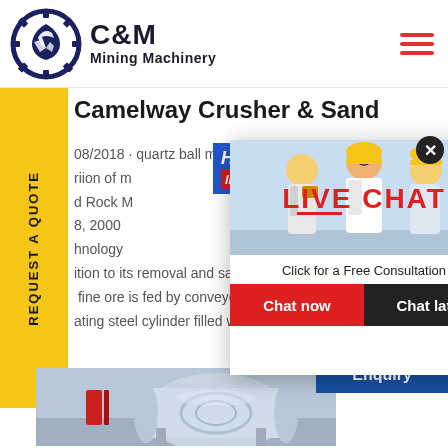C&M Mining Machinery
Camelway Crusher & Sand
08/2018 · quartz ball mill malaysia design and riion of m... d Rock M... 8, 2000 hnology... ition to its removal and sale in t... fine ore is fed by conveyer bel... ating steel cylinder filled with
[Figure (screenshot): Live chat popup overlay with workers in hard hats, LIVE CHAT text in red, 'Click for a Free Consultation', Chat now and Chat later buttons]
[Figure (photo): Female customer service agent with headset on blue/white background, Click to Chat button, Enquiry text]
[Figure (photo): Bottom strip showing industrial machinery equipment]